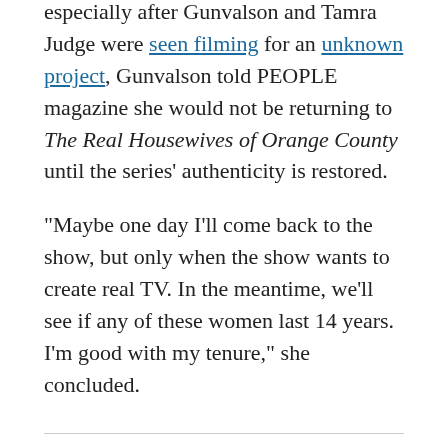While rumors of a return have been swirling, especially after Gunvalson and Tamra Judge were seen filming for an unknown project, Gunvalson told PEOPLE magazine she would not be returning to The Real Housewives of Orange County until the series' authenticity is restored.
“Maybe one day I’ll come back to the show, but only when the show wants to create real TV. In the meantime, we’ll see if any of these women last 14 years. I’m good with my tenure,” she concluded.
Filed Under: Stars
Tagged With: Vicki Gunvalson